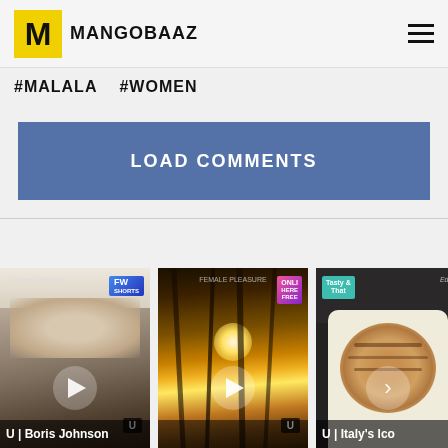MANGOBAAZ
#MALALA   #WOMEN
LOAD COMMENTS
[Figure (photo): Three video thumbnails in a row: 1) Boris Johnson face close-up with FW badge and U rating, courtesy CNN.com label; 2) Wheat/grass at sunset with Onli badge and U rating; 3) Coffee latte top-down with Tasty & That badge and Italy label.]